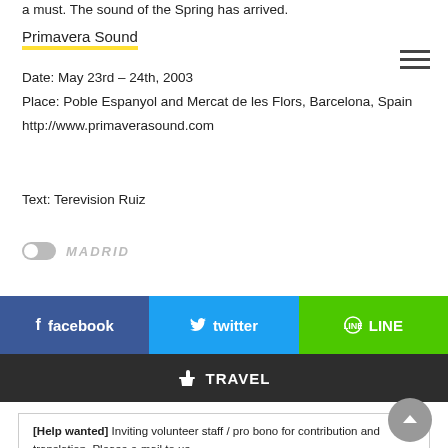a must. The sound of the Spring has arrived.
Primavera Sound
Date: May 23rd – 24th, 2003
Place: Poble Espanyol and Mercat de les Flors, Barcelona, Spain
http://www.primaverasound.com
Text: Terevision Ruiz
MADRID
[Figure (infographic): Social share bar with facebook, twitter, LINE buttons and a TRAVEL button]
[Help wanted] Inviting volunteer staff / pro bono for contribution and translation. Please e-mail to us.